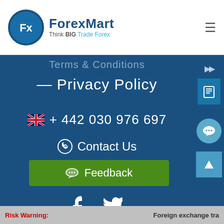[Figure (logo): ForexMart logo with circular FX icon, text 'ForexMart' and tagline 'Think BIG Trade Forex']
ForexMart — Think BIG Trade Forex
Terms & Conditions
— Privacy Policy
+ 442 030 976 697
Contact Us
Feedback
Risk Warning: Foreign exchange tra